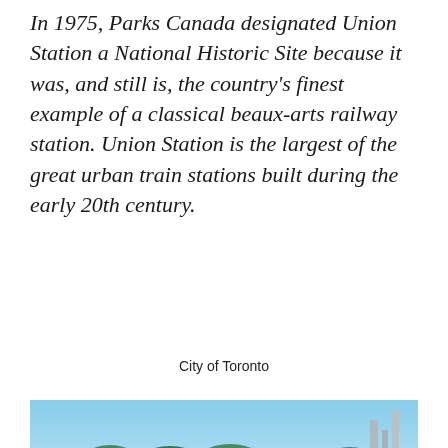In 1975, Parks Canada designated Union Station a National Historic Site because it was, and still is, the country's finest example of a classical beaux-arts railway station. Union Station is the largest of the great urban train stations built during the early 20th century.
City of Toronto
[Figure (photo): Aerial view of a model railway layout showing a small city with brick buildings, roads, railway tracks, a large overpass/bridge structure, trees and foliage in the background under a blue sky with high-rise buildings visible in the distance.]